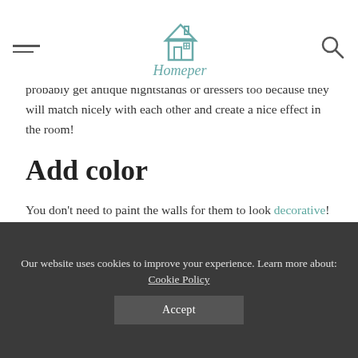Homeper — navigation header with logo
probably get antique nightstands or dressers too because they will match nicely with each other and create a nice effect in the room!
Add color
You don't need to paint the walls for them to look decorative! Simply add colorful furniture pieces like pillows and quilts to create a fun atmosphere that makes any room feel happy and inviting.
If you're unsure how much color is too much or too little when decorating furniture, start by adding one bright piece that will draw attention and serve as an anchor point.
Our website uses cookies to improve your experience. Learn more about: Cookie Policy Accept